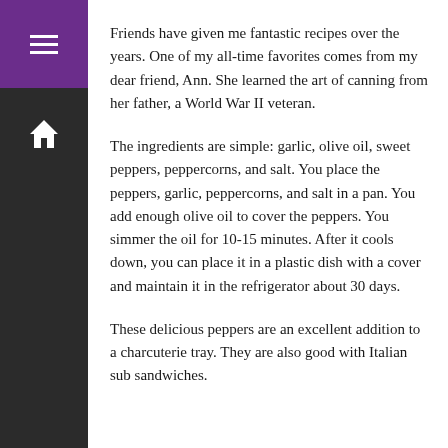Friends have given me fantastic recipes over the years. One of my all-time favorites comes from my dear friend, Ann. She learned the art of canning from her father, a World War II veteran.
The ingredients are simple: garlic, olive oil, sweet peppers, peppercorns, and salt. You place the peppers, garlic, peppercorns, and salt in a pan. You add enough olive oil to cover the peppers. You simmer the oil for 10-15 minutes. After it cools down, you can place it in a plastic dish with a cover and maintain it in the refrigerator about 30 days.
These delicious peppers are an excellent addition to a charcuterie tray. They are also good with Italian sub sandwiches.